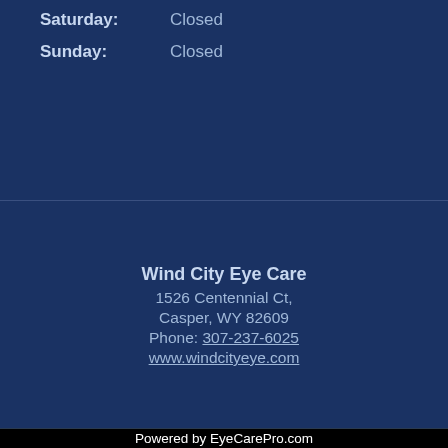| Saturday: | Closed |
| Sunday: | Closed |
Wind City Eye Care
1526 Centennial Ct,
Casper, WY 82609
Phone: 307-237-6025
www.windcityeye.com
Powered by EyeCarePro.com
The materials and articles contained on this website are copyrighted and protected under Title 17 of the United States Code
& DONE4YOU Marketing | Email Accessibility | Website Accessibility Policy | Login